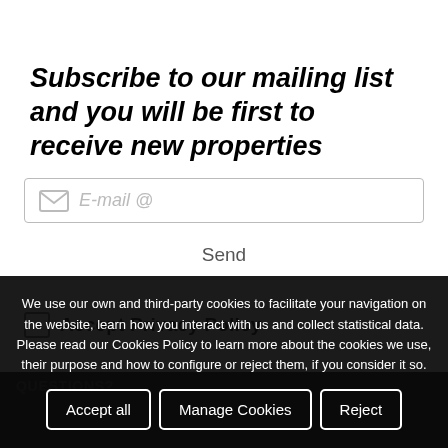Subscribe to our mailing list and you will be first to receive new properties
E-mail @
Send
Accept Privacy Policy
QUESTIONS?
We use our own and third-party cookies to facilitate your navigation on the website, learn how you interact with us and collect statistical data. Please read our Cookies Policy to learn more about the cookies we use, their purpose and how to configure or reject them, if you consider it so.
Accept all
Manage Cookies
Reject